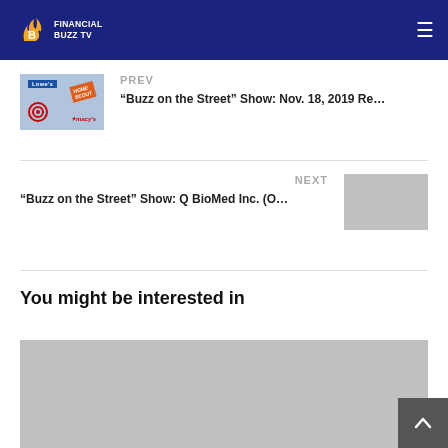Financial Buzz TV
PREV
“Buzz on the Street” Show: Nov. 18, 2019 Re…
NEXT
“Buzz on the Street” Show: Q BioMed Inc. (O…
You might be interested in